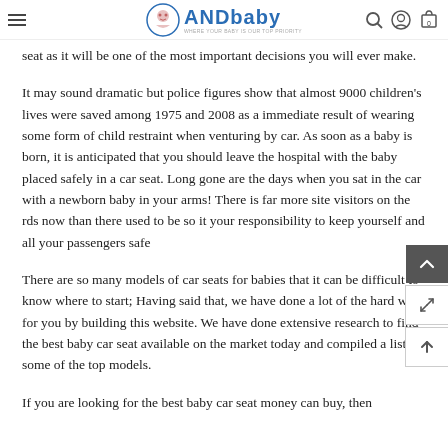ANDbaby - Where your baby is our top priority
seat as it will be one of the most important decisions you will ever make.
It may sound dramatic but police figures show that almost 9000 children's lives were saved among 1975 and 2008 as a immediate result of wearing some form of child restraint when venturing by car. As soon as a baby is born, it is anticipated that you should leave the hospital with the baby placed safely in a car seat. Long gone are the days when you sat in the car with a newborn baby in your arms! There is far more site visitors on the rds now than there used to be so it your responsibility to keep yourself and all your passengers safe
There are so many models of car seats for babies that it can be difficult to know where to start; Having said that, we have done a lot of the hard work for you by building this website. We have done extensive research to find the best baby car seat available on the market today and compiled a list of some of the top models.
If you are looking for the best baby car seat money can buy, then